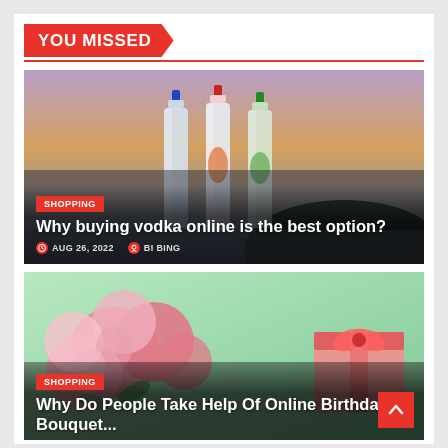YOU MISSED
[Figure (photo): Three vodka bottles with blue, red, and green caps against a blurred outdoor background at dusk]
SHOPPING
Why buying vodka online is the best option?
AUG 26, 2022   BI BING
[Figure (photo): Pink roses and a pink gift box on a green background]
SHOPPING
Why Do People Take Help Of Online Birthday Bouquet...